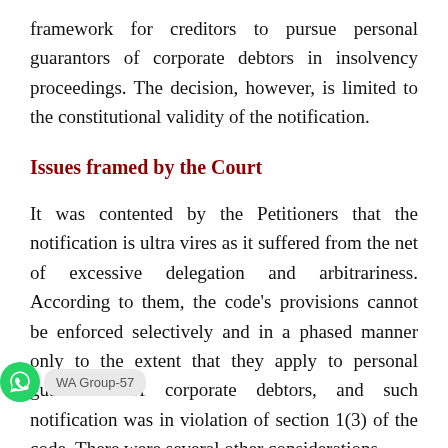framework for creditors to pursue personal guarantors of corporate debtors in insolvency proceedings. The decision, however, is limited to the constitutional validity of the notification.
Issues framed by the Court
It was contented by the Petitioners that the notification is ultra vires as it suffered from the net of excessive delegation and arbitrariness. According to them, the code's provisions cannot be enforced selectively and in a phased manner only to the extent that they apply to personal guarantors of corporate debtors, and such notification was in violation of section 1(3) of the code. There were several other considerations